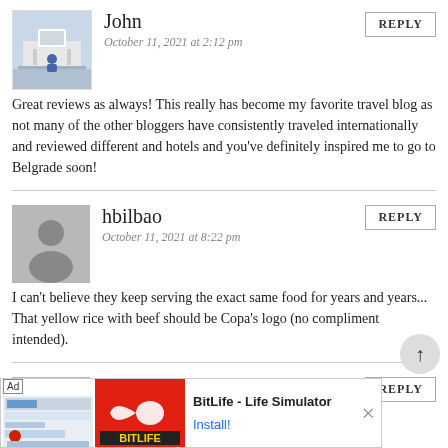[Figure (photo): Profile photo of John showing architectural building]
John
October 11, 2021 at 2:12 pm
REPLY
Great reviews as always! This really has become my favorite travel blog as not many of the other bloggers have consistently traveled internationally and reviewed different and hotels and you've definitely inspired me to go to Belgrade soon!
[Figure (illustration): Generic grey person silhouette avatar for hbilbao]
hbilbao
October 11, 2021 at 8:22 pm
REPLY
I can't believe they keep serving the exact same food for years and years... That yellow rice with beef should be Copa's logo (no compliment intended).
[Figure (illustration): Generic grey person silhouette avatar for Kelly Loeffler]
Kelly Loeffler
October 11, 2021 at 9:30 pm
REPLY
So incredibly sad people like you are traveling
[Figure (screenshot): Ad banner for BitLife - Life Simulator with Install button]